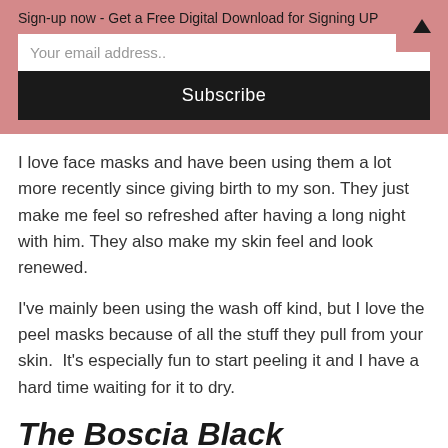Sign-up now - Get a Free Digital Download for Signing UP
Your email address..
Subscribe
I love face masks and have been using them a lot more recently since giving birth to my son. They just make me feel so refreshed after having a long night with him. They also make my skin feel and look renewed.
I've mainly been using the wash off kind, but I love the peel masks because of all the stuff they pull from your skin.  It's especially fun to start peeling it and I have a hard time waiting for it to dry.
The Boscia Black Charcoal Mask Review